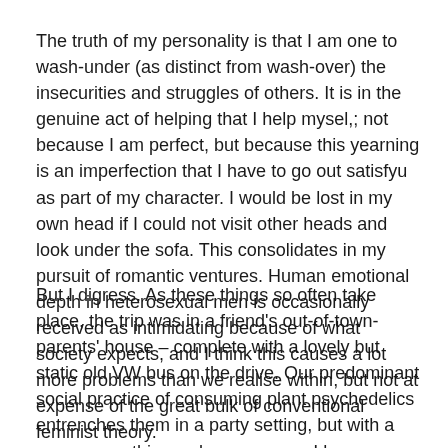The truth of my personality is that I am one to wash-under (as distinct from wash-over) the insecurities and struggles of others. It is in the genuine act of helping that I help mysel,; not because I am perfect, but because this yearning is an imperfection that I have to go out satisfyu as part of my character. I would be lost in my own head if I could not visit other heads and look under the sofa. This consolidates in my pursuit of romantic ventures. Human emotional depth in heterosexual men is occasionally received as intimidating because of what society expects, and I think this causes a lot more problems than we realise within, but not at expense of the great bulk of conventional feminist theory.
But I digress. As these things so often take place, the trip was in a friend's out-of-town-parents' house – complete with a lovely but static old VW bus on the drive. Our predominant social practice of consuming plant psychedelics entrenches them in a party setting, but with a spare room this can be overcome. I have voyaged with mushrooms and acid on my own several times in the past, trips I have spent watching